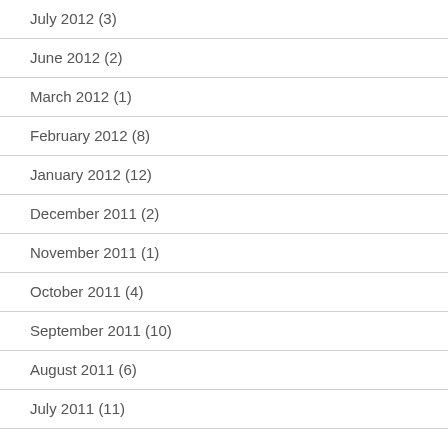July 2012 (3)
June 2012 (2)
March 2012 (1)
February 2012 (8)
January 2012 (12)
December 2011 (2)
November 2011 (1)
October 2011 (4)
September 2011 (10)
August 2011 (6)
July 2011 (11)